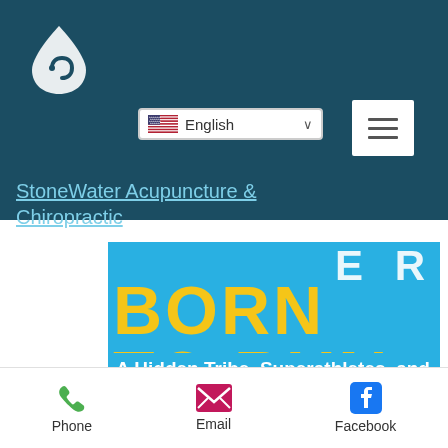...mend ...nds.
[Figure (screenshot): StoneWater Acupuncture & Chiropractic website navigation header with teal/dark blue background, white logo (water drop with swirl), language selector showing US flag and 'English', and hamburger menu button]
StoneWater Acupuncture & Chiropractic
[Figure (photo): Book cover of 'Born to Run' by Christopher McDougall with blue background, yellow title letters partially visible (BORN TO RUN), subtitle 'A Hidden Tribe, Superathletes, and the Greatest Race the World Has Never Seen', author name in yellow 'Christopher McDougall', and quote from Bill Rodgers, San Francisco Chronicle]
Phone   Email   Facebook